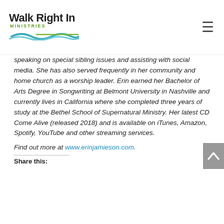Walk Right In MINISTRIES
speaking on special sibling issues and assisting with social media. She has also served frequently in her community and home church as a worship leader. Erin earned her Bachelor of Arts Degree in Songwriting at Belmont University in Nashville and currently lives in California where she completed three years of study at the Bethel School of Supernatural Ministry. Her latest CD Come Alive (released 2018) and is available on iTunes, Amazon, Spotify, YouTube and other streaming services.
Find out more at www.erinjamieson.com.
Share this: